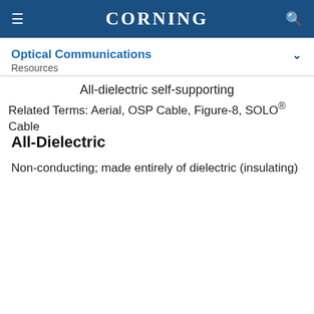CORNING
Optical Communications
Resources
All-dielectric self-supporting
Related Terms: Aerial, OSP Cable, Figure-8, SOLO® Cable
All-Dielectric
Non-conducting; made entirely of dielectric (insulating)
By clicking "Accept All Cookies", you agree to the storing of cookies on your device to enhance site navigation, analyze site usage, and assist in our marketing efforts.  Cookie Policy
Cookie Settings
Accept All Cookies